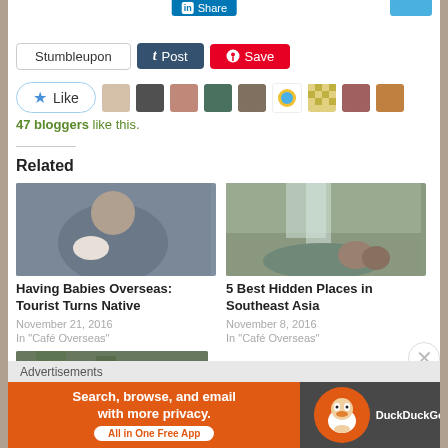[Figure (screenshot): Social share buttons: LinkedIn Share, Stumbleupon, Tumblr Post, Pinterest Save]
[Figure (screenshot): Like button with star icon and row of blogger avatars]
47 bloggers like this.
Related
[Figure (photo): Photo of a man holding and kissing a newborn baby]
Having Babies Overseas: Tourist Turns Native
November 21, 2016
In "Café Overseas"
[Figure (photo): Photo of two people (older adult and child) near a waterfall in Southeast Asia]
5 Best Hidden Places in Southeast Asia
November 8, 2016
In "Café Overseas"
[Figure (photo): Partial photo of a green outdoor scene, partially visible at bottom]
Advertisements
[Figure (screenshot): DuckDuckGo advertisement banner: Search, browse, and email with more privacy. All in One Free App]